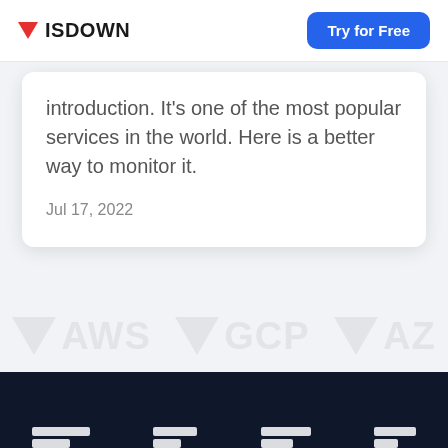ISDOWN | Try for Free
introduction. It’s one of the most popular services in the world. Here is a better way to monitor it.
Jul 17, 2022
[Figure (illustration): Dark navy footer bar with partial white bar chart/text elements visible at the bottom]